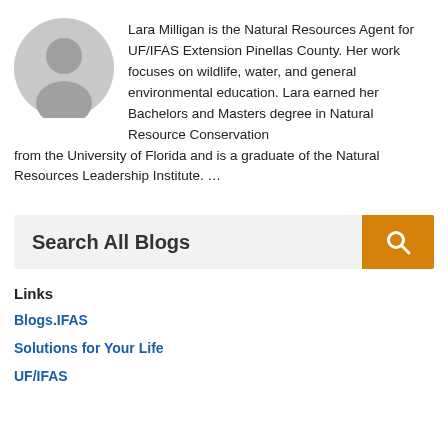[Figure (illustration): Gray circular avatar/profile silhouette icon]
Lara Milligan is the Natural Resources Agent for UF/IFAS Extension Pinellas County. Her work focuses on wildlife, water, and general environmental education. Lara earned her Bachelors and Masters degree in Natural Resource Conservation from the University of Florida and is a graduate of the Natural Resources Leadership Institute. …
[Figure (screenshot): Search All Blogs input field with orange search button containing magnifying glass icon]
Links
Blogs.IFAS
Solutions for Your Life
UF/IFAS